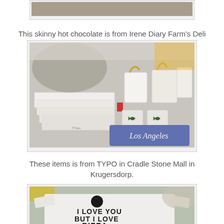[Figure (photo): Top of page: partial photo of what appears to be a hot chocolate drink, cropped at top]
This skinny hot chocolate is from Irene Diary Farm's Deli
[Figure (photo): Photo of various items from TYPO store: white boxes, tote bags with gold ribbon, mugs with butterfly logos, and a pillow that says Los Angeles]
These items is from TYPO in Cradle Stone Mall in Krugersdorp.
[Figure (photo): Partial photo showing a white t-shirt with text 'I LOVE YOU BUT I LOVE PIZZA' printed on it, with various items in background]